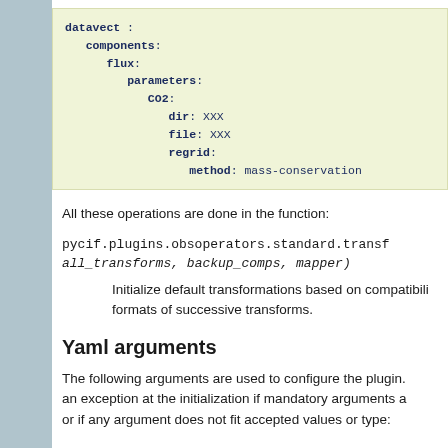[Figure (other): Code block showing YAML configuration with datavect, components, flux, parameters, CO2, dir, file, regrid, method keys]
All these operations are done in the function:
pycif.plugins.obsoperators.standard.transf all_transforms, backup_comps, mapper)
Initialize default transformations based on compatibility formats of successive transforms.
Yaml arguments
The following arguments are used to configure the plugin. an exception at the initialization if mandatory arguments a or if any argument does not fit accepted values or type: